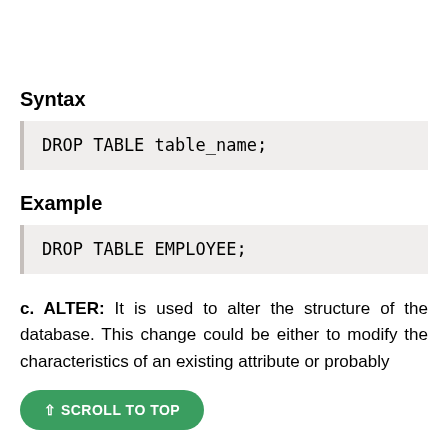Syntax
DROP TABLE table_name;
Example
DROP TABLE EMPLOYEE;
c. ALTER: It is used to alter the structure of the database. This change could be either to modify the characteristics of an existing attribute or probably
⇧ SCROLL TO TOP